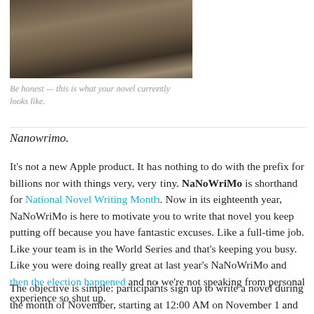[Figure (photo): Close-up photo of a weathered metal tray or container with soil and small objects, appearing rusty and aged.]
Be honest — this is what your novel currently looks like.
Nanowrimo.
It's not a new Apple product. It has nothing to do with the prefix for billions nor with things very, very tiny. NaNoWriMo is shorthand for National Novel Writing Month. Now in its eighteenth year, NaNoWriMo is here to motivate you to write that novel you keep putting off because you have fantastic excuses. Like a full-time job. Like your team is in the World Series and that's keeping you busy. Like you were doing really great at last year's NaNoWriMo and then the election happened and no we're not speaking from personal experience so shut up.
The objective is simple: participants sign up to write a novel during the month of November, starting at 12:00 AM on November 1 and ending at 11:59 PM on November 30 local time.